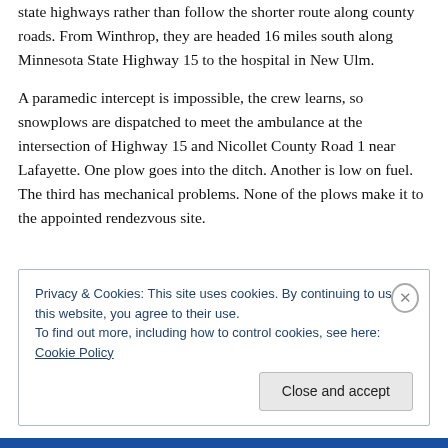state highways rather than follow the shorter route along county roads. From Winthrop, they are headed 16 miles south along Minnesota State Highway 15 to the hospital in New Ulm.
A paramedic intercept is impossible, the crew learns, so snowplows are dispatched to meet the ambulance at the intersection of Highway 15 and Nicollet County Road 1 near Lafayette. One plow goes into the ditch. Another is low on fuel. The third has mechanical problems. None of the plows make it to the appointed rendezvous site.
Privacy & Cookies: This site uses cookies. By continuing to use this website, you agree to their use.
To find out more, including how to control cookies, see here: Cookie Policy
Close and accept